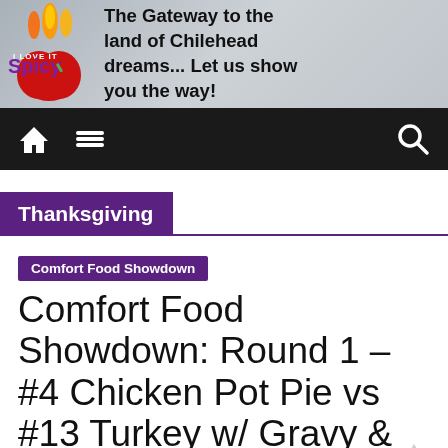[Figure (logo): I Love It Spicy website logo with flame graphic and text]
The Gateway to the land of Chilehead dreams... Let us show you the way!
[Figure (other): Navigation bar with home icon, menu icon, and search icon]
Thanksgiving
Comfort Food Showdown
Comfort Food Showdown: Round 1 – #4 Chicken Pot Pie vs #13 Turkey w/ Gravy & Stuffing
November 18, 2018   Buddah   0 Comments   Chicken